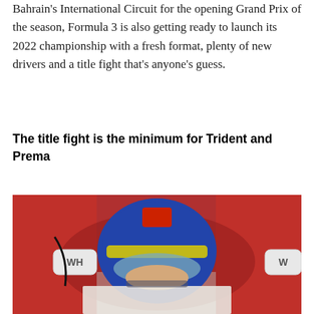Bahrain's International Circuit for the opening Grand Prix of the season, Formula 3 is also getting ready to launch its 2022 championship with a fresh format, plenty of new drivers and a title fight that's anyone's guess.
The title fight is the minimum for Trident and Prema
[Figure (photo): A racing driver wearing a blue, yellow and red helmet with a Ferrari logo sits inside a red Formula 3 car cockpit. Two WH-branded mirrors are visible on either side. The image is taken from a low angle looking up at the driver.]